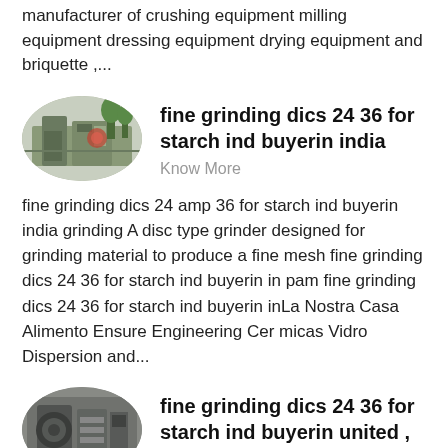manufacturer of crushing equipment milling equipment dressing equipment drying equipment and briquette ,...
[Figure (photo): Oval thumbnail image of an industrial crushing or grinding machine at an outdoor site]
fine grinding dics 24 36 for starch ind buyerin india
Know More
fine grinding dics 24 amp 36 for starch ind buyerin india grinding A disc type grinder designed for grinding material to produce a fine mesh fine grinding dics 24 36 for starch ind buyerin in pam fine grinding dics 24 36 for starch ind buyerin inLa Nostra Casa Alimento Ensure Engineering Cer micas Vidro Dispersion and...
[Figure (photo): Oval thumbnail image of an industrial interior machinery]
fine grinding dics 24 36 for starch ind buyerin united ,